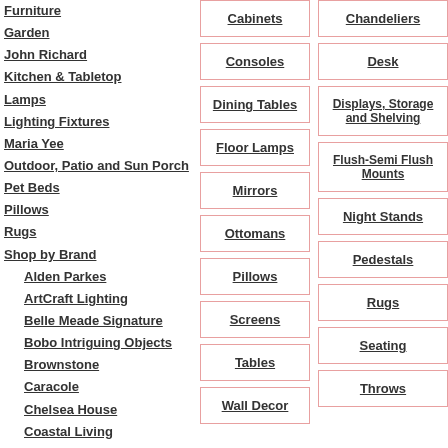Furniture
Garden
John Richard
Kitchen & Tabletop
Lamps
Lighting Fixtures
Maria Yee
Outdoor, Patio and Sun Porch
Pet Beds
Pillows
Rugs
Shop by Brand
Alden Parkes
ArtCraft Lighting
Belle Meade Signature
Bobo Intriguing Objects
Brownstone
Caracole
Chelsea House
Coastal Living
Coastal Wicker
Currey and Company
Cabinets
Chandeliers
Consoles
Desk
Dining Tables
Displays, Storage and Shelving
Floor Lamps
Flush-Semi Flush Mounts
Mirrors
Night Stands
Ottomans
Pedestals
Pillows
Rugs
Screens
Seating
Tables
Throws
Wall Decor